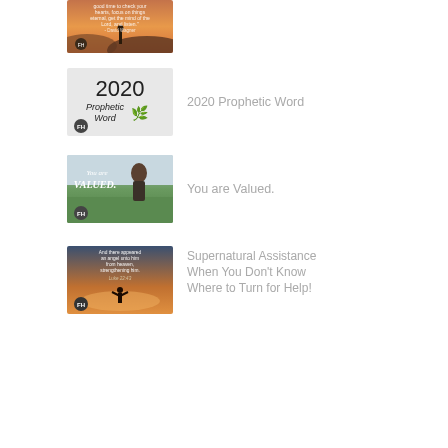[Figure (photo): Inspirational photo with silhouette of person and desert landscape at sunset, quote by David Wagner, FH logo]
[Figure (photo): 2020 Prophetic Word graphic with large bold text and small plant illustration, FH logo]
2020 Prophetic Word
[Figure (photo): You are Valued graphic with woman sitting in field, handwritten style text, FH logo]
You are Valued.
[Figure (photo): Angel Bible verse graphic with Luke 22:43 text and silhouette of person at sunset, FH logo]
Supernatural Assistance When You Don't Know Where to Turn for Help!